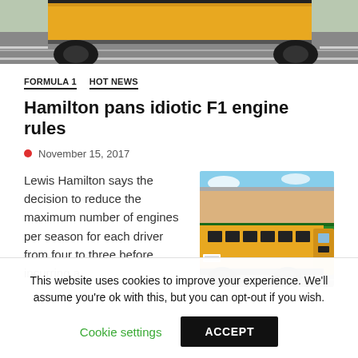[Figure (photo): Top portion of a yellow school bus / large vehicle on a racetrack, viewed from above, showing roof and surroundings with green grass edge.]
FORMULA 1   HOT NEWS
Hamilton pans idiotic F1 engine rules
November 15, 2017
Lewis Hamilton says the decision to reduce the maximum number of engines per season for each driver from four to three before incurring a
[Figure (photo): Yellow school bus parked on racetrack pit lane/road with grandstands full of spectators in background and green barriers visible.]
This website uses cookies to improve your experience. We'll assume you're ok with this, but you can opt-out if you wish.
Cookie settings
ACCEPT